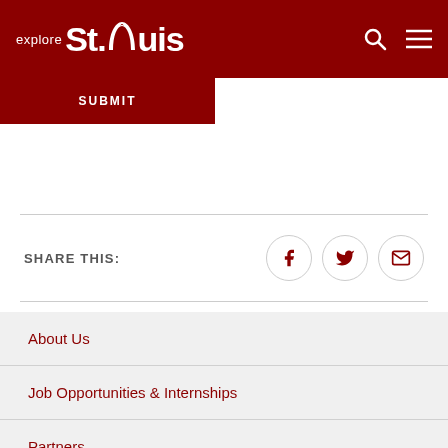explore St.Louis
SUBMIT
SHARE THIS:
About Us
Job Opportunities & Internships
Partners